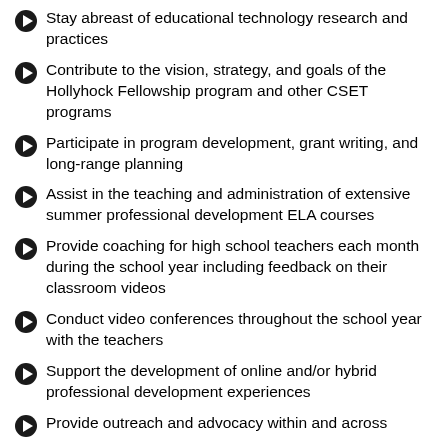Stay abreast of educational technology research and practices
Contribute to the vision, strategy, and goals of the Hollyhock Fellowship program and other CSET programs
Participate in program development, grant writing, and long-range planning
Assist in the teaching and administration of extensive summer professional development ELA courses
Provide coaching for high school teachers each month during the school year including feedback on their classroom videos
Conduct video conferences throughout the school year with the teachers
Support the development of online and/or hybrid professional development experiences
Provide outreach and advocacy within and across